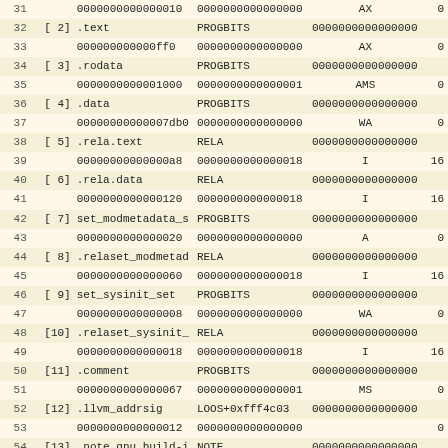| 31 |  | 0000000000000010 | 0000000000000000 | AX | 0 |
| 32 | [ 2] .text | PROGBITS | 0000000000000000 |  |  |
| 33 |  | 000000000000ff0 | 0000000000000000 | AX | 0 |
| 34 | [ 3] .rodata | PROGBITS | 0000000000000000 |  |  |
| 35 |  | 0000000000001000 | 0000000000000001 | AMS | 0 |
| 36 | [ 4] .data | PROGBITS | 0000000000000000 |  |  |
| 37 |  | 00000000000007db0 | 0000000000000000 | WA | 0 |
| 38 | [ 5] .rela.text | RELA | 0000000000000000 |  |  |
| 39 |  | 00000000000000a8 | 0000000000000018 | I | 16 |
| 40 | [ 6] .rela.data | RELA | 0000000000000000 |  |  |
| 41 |  | 0000000000000120 | 0000000000000018 | I | 16 |
| 42 | [ 7] set_modmetadata_s | PROGBITS | 0000000000000000 |  |  |
| 43 |  | 0000000000000020 | 0000000000000000 | A | 0 |
| 44 | [ 8] .relaset_modmetad | RELA | 0000000000000000 |  |  |
| 45 |  | 0000000000000060 | 0000000000000018 | I | 16 |
| 46 | [ 9] set_sysinit_set | PROGBITS | 0000000000000000 |  |  |
| 47 |  | 0000000000000008 | 0000000000000000 | WA | 0 |
| 48 | [10] .relaset_sysinit_ | RELA | 0000000000000000 |  |  |
| 49 |  | 0000000000000018 | 0000000000000018 | I | 16 |
| 50 | [11] .comment | PROGBITS | 0000000000000000 |  |  |
| 51 |  | 0000000000000067 | 0000000000000001 | MS | 0 |
| 52 | [12] .llvm_addrsig | LOOS+0xfff4c03 | 0000000000000000 |  |  |
| 53 |  | 0000000000000012 | 0000000000000000 |  | 0 |
| 54 | [13] .note.gnu.build-i | NOTE | 0000000000000000 |  |  |
| 55 |  | 0000000000000024 | 0000000000000000 | A | 0 |